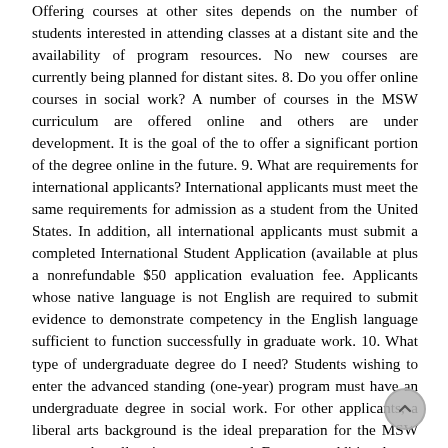Offering courses at other sites depends on the number of students interested in attending classes at a distant site and the availability of program resources. No new courses are currently being planned for distant sites. 8. Do you offer online courses in social work? A number of courses in the MSW curriculum are offered online and others are under development. It is the goal of the to offer a significant portion of the degree online in the future. 9. What are requirements for international applicants? International applicants must meet the same requirements for admission as a student from the United States. In addition, all international applicants must submit a completed International Student Application (available at plus a nonrefundable $50 application evaluation fee. Applicants whose native language is not English are required to submit evidence to demonstrate competency in the English language sufficient to function successfully in graduate work. 10. What type of undergraduate degree do I need? Students wishing to enter the advanced standing (one-year) program must have an undergraduate degree in social work. For other applicants, a liberal arts background is the ideal preparation for the MSW program, but all majors are accepted. For some, additional